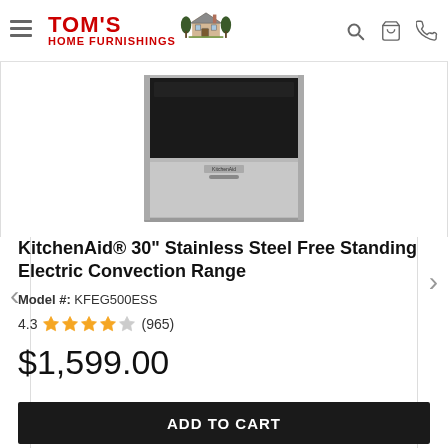Tom's Home Furnishings - navigation header
[Figure (photo): KitchenAid stainless steel electric convection range appliance product image, showing the oven with black glass top and stainless steel body]
KitchenAid® 30" Stainless Steel Free Standing Electric Convection Range
Model #: KFEG500ESS
4.3 ★★★★☆ (965)
$1,599.00
ADD TO CART